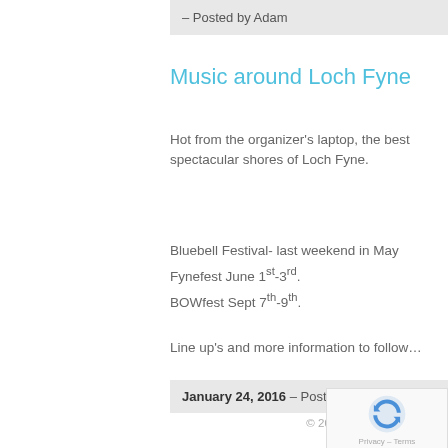- Posted by Adam
Music around Loch Fyne
Hot from the organizer's laptop, the best… spectacular shores of Loch Fyne.
Bluebell Festival- last weekend in May
Fynefest June 1st-3rd.
BOWfest Sept 7th-9th.
Line up's and more information to follow…
January 24, 2016 - Posted by Adam
© 2022 Speciality Self C… The Lodge - St Cat…